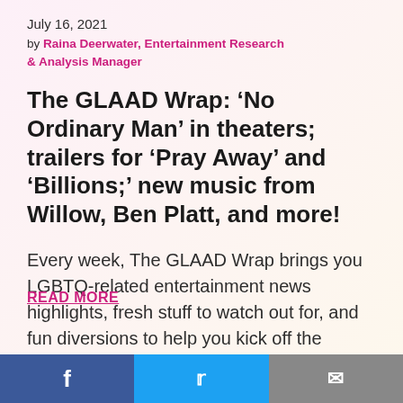July 16, 2021
by Raina Deerwater, Entertainment Research & Analysis Manager
The GLAAD Wrap: ‘No Ordinary Man’ in theaters; trailers for ‘Pray Away’ and ‘Billions;’ new music from Willow, Ben Platt, and more!
Every week, The GLAAD Wrap brings you LGBTQ-related entertainment news highlights, fresh stuff to watch out for, and fun diversions to help you kick off the weekend.
READ MORE